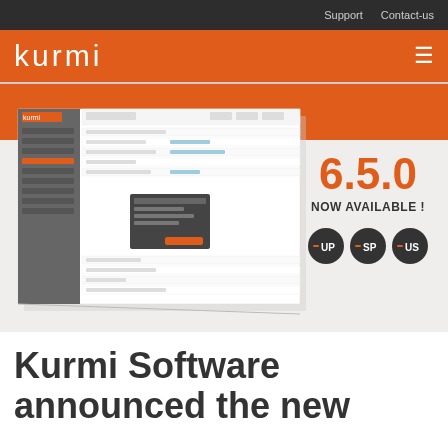Support   Contact-us
kurmi
[Figure (screenshot): Kurmi Software version 6.5.0 promotional banner showing a software UI screenshot mockup on a light grey background with orange header strip, displaying '6.5.0 NOW AVAILABLE !' with three dark circular badges labeled UP, SP, US]
Kurmi Software announced the new